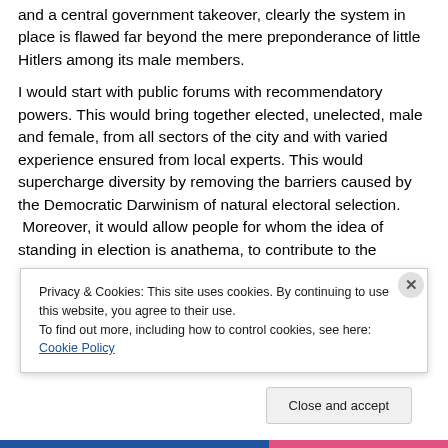and a central government takeover, clearly the system in place is flawed far beyond the mere preponderance of little Hitlers among its male members.
I would start with public forums with recommendatory powers. This would bring together elected, unelected, male and female, from all sectors of the city and with varied experience ensured from local experts. This would supercharge diversity by removing the barriers caused by the Democratic Darwinism of natural electoral selection.  Moreover, it would allow people for whom the idea of standing in election is anathema, to contribute to the
Privacy & Cookies: This site uses cookies. By continuing to use this website, you agree to their use.
To find out more, including how to control cookies, see here: Cookie Policy
Close and accept